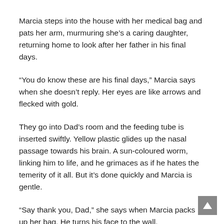Marcia steps into the house with her medical bag and pats her arm, murmuring she’s a caring daughter, returning home to look after her father in his final days.
“You do know these are his final days,” Marcia says when she doesn’t reply. Her eyes are like arrows and flecked with gold.
They go into Dad’s room and the feeding tube is inserted swiftly. Yellow plastic glides up the nasal passage towards his brain. A sun-coloured worm, linking him to life, and he grimaces as if he hates the temerity of it all. But it’s done quickly and Marcia is gentle.
“Say thank you, Dad,” she says when Marcia packs up her bag. He turns his face to the wall.